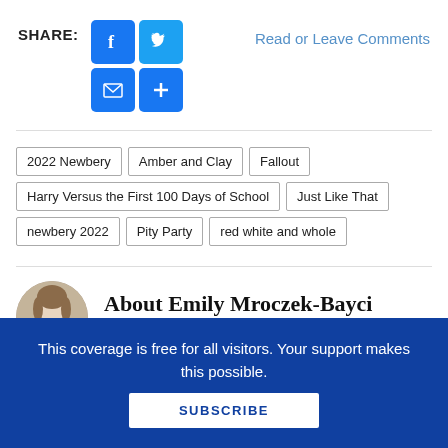SHARE:
[Figure (infographic): Social share buttons: Facebook, Twitter, Email, Plus icons in blue]
Read or Leave Comments
2022 Newbery
Amber and Clay
Fallout
Harry Versus the First 100 Days of School
Just Like That
newbery 2022
Pity Party
red white and whole
About Emily Mroczek-Bayci
This coverage is free for all visitors. Your support makes this possible.
SUBSCRIBE